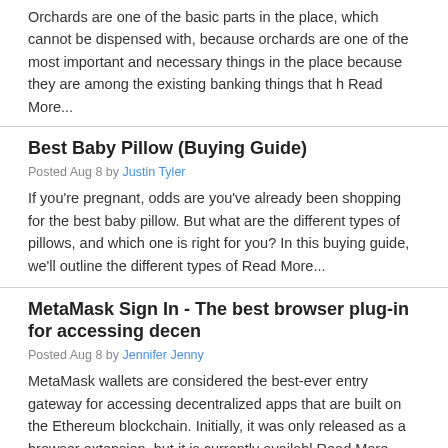Orchards are one of the basic parts in the place, which cannot be dispensed with, because orchards are one of the most important and necessary things in the place because they are among the existing banking things that h Read More...
Best Baby Pillow (Buying Guide)
Posted Aug 8 by Justin Tyler
If you're pregnant, odds are you've already been shopping for the best baby pillow. But what are the different types of pillows, and which one is right for you? In this buying guide, we'll outline the different types of Read More...
MetaMask Sign In - The best browser plug-in for accessing decen
Posted Aug 8 by Jennifer Jenny
MetaMask wallets are considered the best-ever entry gateway for accessing decentralized apps that are built on the Ethereum blockchain. Initially, it was only released as a browser extension, but it is currently availabl Read More...
Which is the Best Assignment Help Service?
Posted Aug 8 by David Wayne